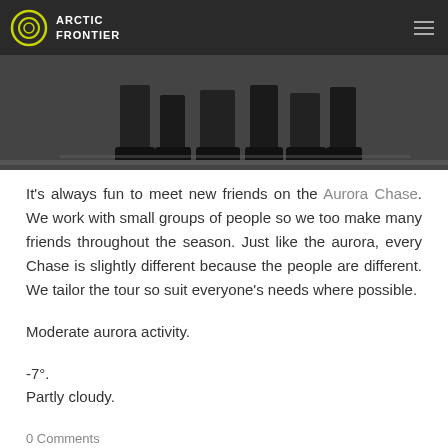ARCTIC FRONTIER
[Figure (photo): Cropped photo showing people's legs and feet on a dark surface, black and white or dark toned]
It's always fun to meet new friends on the Aurora Chase. We work with small groups of people so we too make many friends throughout the season. Just like the aurora, every Chase is slightly different because the people are different. We tailor the tour so suit everyone's needs where possible.
Moderate aurora activity.
-7°.
Partly cloudy.
0 Comments